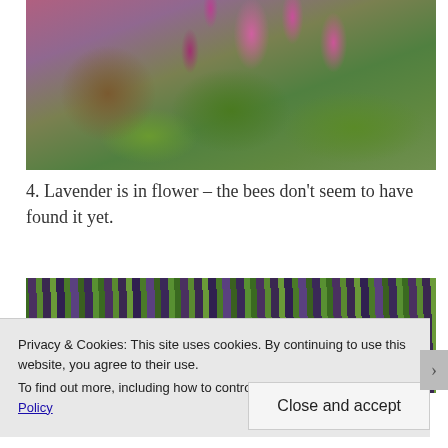[Figure (photo): Close-up photograph of pink/magenta lavender-like flowers with thin tubular petals against a blurred green bokeh background]
4. Lavender is in flower – the bees don't seem to have found it yet.
[Figure (photo): Close-up photograph of lavender plants showing purple flower buds among green and white striped leaves/stems]
Privacy & Cookies: This site uses cookies. By continuing to use this website, you agree to their use.
To find out more, including how to control cookies, see here: Cookie Policy
Close and accept